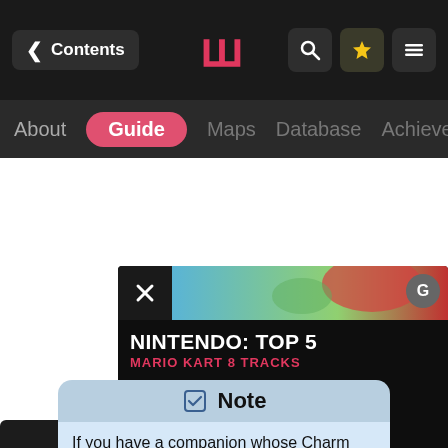< Contents | [Logo] | [Search] [Star] [Menu]
About | Guide | Maps | Database | Achievements
[Figure (screenshot): Video card overlay showing Nintendo: Top 5 Mario Kart 8 Tracks with close (X) button, red G button, racing image background, and description text: Mario Kart 8 has some incredible tracks from the slopes of Grumble Volcano]
★ Subscr… Ro…
Note
If you have a companion whose Charm skill level